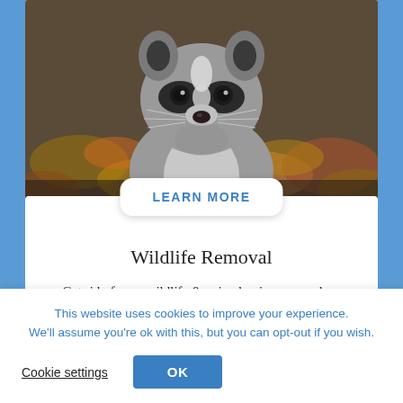[Figure (photo): Close-up photo of a raccoon looking at the camera, with autumn leaves visible in the background]
LEARN MORE
Wildlife Removal
Get rid of your wildlife & animal nuisances such as squirrels, raccoons, rodents, birds, bees, snakes, bats, skunks, and more. While some animals and
This website uses cookies to improve your experience. We'll assume you're ok with this, but you can opt-out if you wish.
Cookie settings
OK